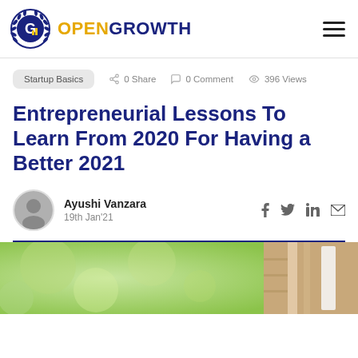OPENGROWTH
Startup Basics  0 Share  0 Comment  396 Views
Entrepreneurial Lessons To Learn From 2020 For Having a Better 2021
Ayushi Vanzara
19th Jan'21
[Figure (photo): Background image showing blurred green bokeh on left and a wooden surface on the right, used as article cover photo]